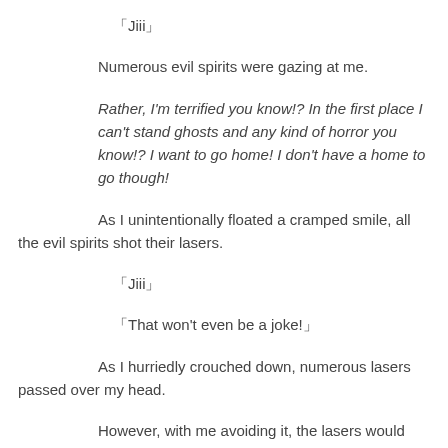「Jiii」
Numerous evil spirits were gazing at me.
Rather, I'm terrified you know!? In the first place I can't stand ghosts and any kind of horror you know!? I want to go home! I don't have a home to go though!
As I unintentionally floated a cramped smile, all the evil spirits shot their lasers.
「Jiii」
「That won't even be a joke!」
As I hurriedly crouched down, numerous lasers passed over my head.
However, with me avoiding it, the lasers would only hit another evil spirits and repeatedly bounced back, so even if I wanted to stand up there was only